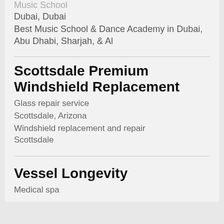Music School
Dubai, Dubai
Best Music School & Dance Academy in Dubai, Abu Dhabi, Sharjah, & Al
Scottsdale Premium Windshield Replacement
Glass repair service
Scottsdale, Arizona
Windshield replacement and repair Scottsdale
Vessel Longevity
Medical spa